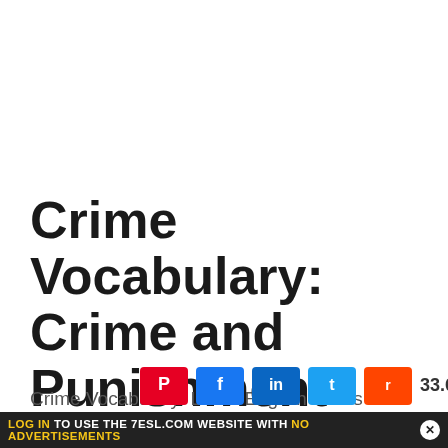Crime Vocabulary: Crime and Punishment Vocabulary Words
Crime Vocabulary! Learn English words for
LOG IN TO USE THE 7ESL.COM WEBSITE WITH NO ADVERTISEMENTS